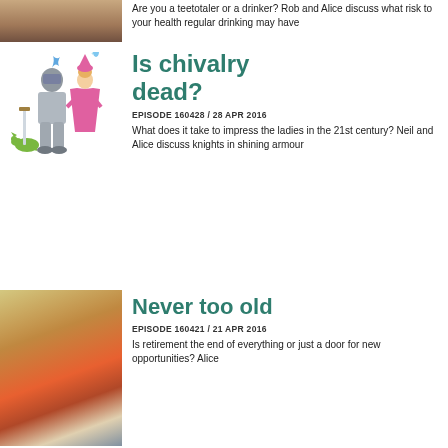[Figure (photo): Cropped top portion of a photo, upper section visible]
Are you a teetotaler or a drinker? Rob and Alice discuss what risk to your health regular drinking may have
[Figure (illustration): Cartoon illustration of a knight in armor with a princess and a small dragon]
Is chivalry dead?
EPISODE 160428 / 28 APR 2016
What does it take to impress the ladies in the 21st century? Neil and Alice discuss knights in shining armour
[Figure (photo): Photo of elderly cyclists, older man with beard and sunglasses in foreground wearing red jacket]
Never too old
EPISODE 160421 / 21 APR 2016
Is retirement the end of everything or just a door for new opportunities? Alice